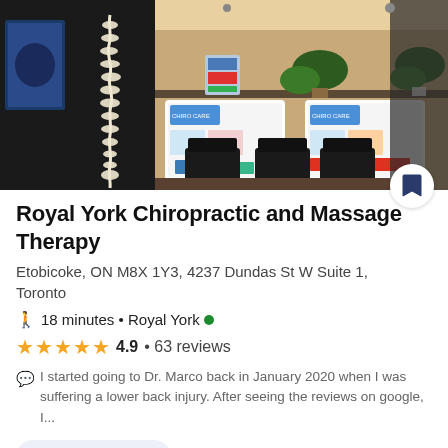[Figure (photo): Interior of Royal York Chiropractic and Massage Therapy waiting room showing black spine poster on wall, black chairs, informational boards, and plants on shelf]
Royal York Chiropractic and Massage Therapy
Etobicoke, ON M8X 1Y3, 4237 Dundas St W Suite 1, Toronto
🚶 18 minutes • Royal York ●
★★★★★ 4.9 • 63 reviews
I started going to Dr. Marco back in January 2020 when I was suffering a lower back injury. After seeing the reviews on google, I...
Open until 6PM